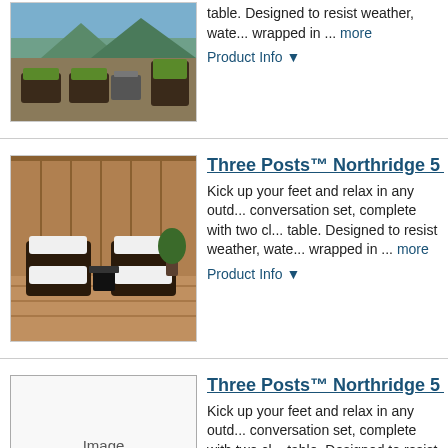[Figure (photo): Outdoor patio furniture set with green cushions]
table. Designed to resist weather, wate... wrapped in ... more
Product Info ▼
Three Posts™ Northridge 5 P...
[Figure (photo): Two black wicker chairs with white cushions on a wood deck]
Kick up your feet and relax in any outd... conversation set, complete with two cl... table. Designed to resist weather, wate... wrapped in ... more
Product Info ▼
Three Posts™ Northridge 5 P...
[Figure (photo): Image Not Available placeholder]
Kick up your feet and relax in any outd... conversation set, complete with two cl... table. Designed to resist weather, wate... wrapped in ... more
Product Info ▼
Three Posts™ Northridge 5 P...
[Figure (photo): Two wicker chairs with orange cushions on a patio]
Kick up your feet and relax in any outd... conversation set, complete with two cl... table. Designed to resist weather, wate... wrapped in ... more
Product Info ▼
Three Posts™ Northridge 5 P...
[Figure (photo): Outdoor patio furniture set with dark cushions]
Kick up your feet and relax in any outd... conversation set, complete with two cl...